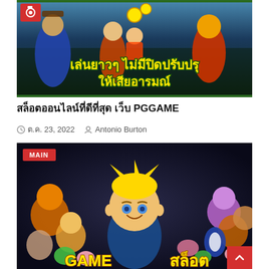[Figure (illustration): Thai online slot game promotional banner with cartoon characters (wizard, warrior with tiger head, other game characters) on a dark fantasy background. Yellow Thai text reads 'เล่นยาวๆ ไม่มีปิดปรับปรุง ให้เสียอารมณ์'. Red camera icon in top-left corner.]
สล็อตออนไลน์ที่ดีที่สุด เว็บ PGGAME
ต.ค. 23, 2022   Antonio Burton
[Figure (illustration): PG Game second promotional banner on dark background with a cartoon blonde boy character surrounded by colorful cartoon animals (tiger, lion, bear, penguin, pig, frog, etc.). Red MAIN badge in top-left corner. Yellow text at bottom reads 'GAME...' (partially visible).]